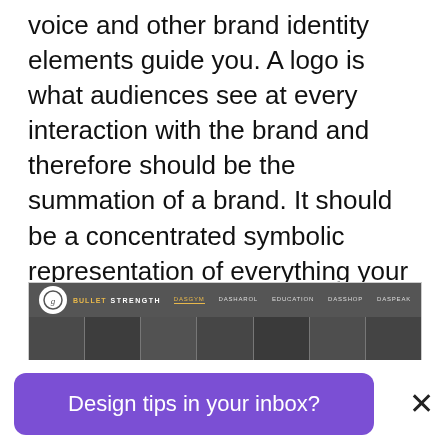voice and other brand identity elements guide you. A logo is what audiences see at every interaction with the brand and therefore should be the summation of a brand. It should be a concentrated symbolic representation of everything your gym brand is. It will be the building block for the rest of the branding and together form a holistic identity.
[Figure (screenshot): Screenshot of a gym website header showing a logo with a circular icon and the text 'STRENGTH' alongside navigation links: DASGYM, DASHAROL, EDUCATION, DASSHOP, DASPEAK. Below the nav bar is a dark panel showing images of gym scenes.]
Design tips in your inbox?